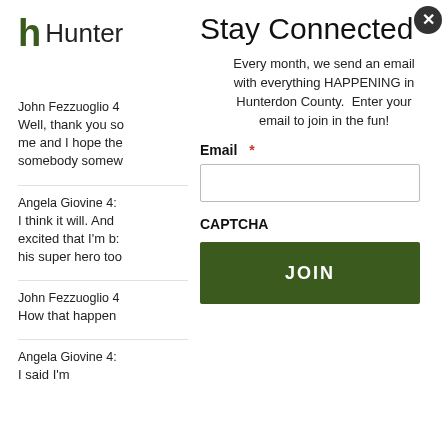[Figure (logo): Hunter logo with stylized h and text 'Hunter']
Stay Connected
Every month, we send an email with everything HAPPENING in Hunterdon County.  Enter your email to join in the fun!
Email *
CAPTCHA
JOIN
John Fezzuoglio 4
Well, thank you so
me and I hope the
somebody somew
Angela Giovine 4:
I think it will. And
excited that I'm b:
his super hero too
John Fezzuoglio 4
How that happen
Angela Giovine 4:
I said I'm